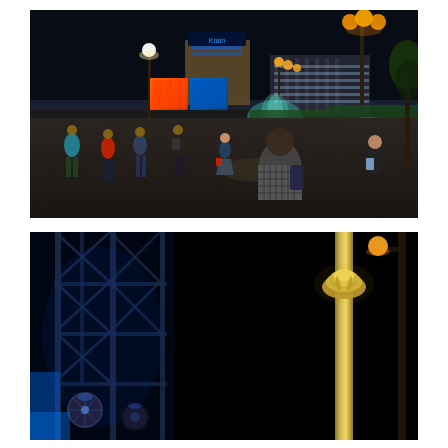[Figure (photo): Night scene at Maidan Nezalezhnosti (Independence Square) in Kyiv, Ukraine. People walking on a large stone plaza. In the background are illuminated buildings including a tall hotel with blue signs reading 'Krain', large orange and blue LED screens/displays, a fountain lit in blue-green, ornate street lamps with multiple orange globes, and green lawns. A man in a checkered shirt is visible in the foreground from behind, and a woman stands to the right holding a phone. The scene is dark with warm artificial lighting.]
[Figure (photo): Nighttime close-up scene showing a tall golden monument column (likely the Independence Monument column in Kyiv) against a completely black sky. On the left side there is a metal truss structure with blue lighting and stage lighting equipment (spotlights/disco balls) visible at the bottom, suggesting a concert or event setup.]